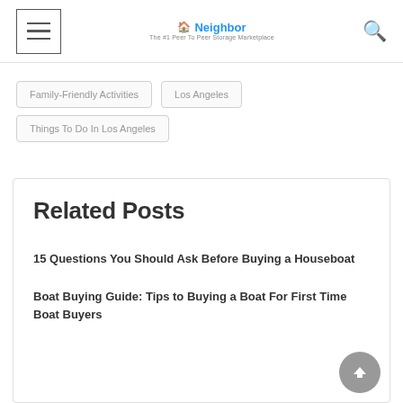Neighbor — The #1 Peer To Peer Storage Marketplace
Family-Friendly Activities
Los Angeles
Things To Do In Los Angeles
Related Posts
15 Questions You Should Ask Before Buying a Houseboat
Boat Buying Guide: Tips to Buying a Boat For First Time Boat Buyers